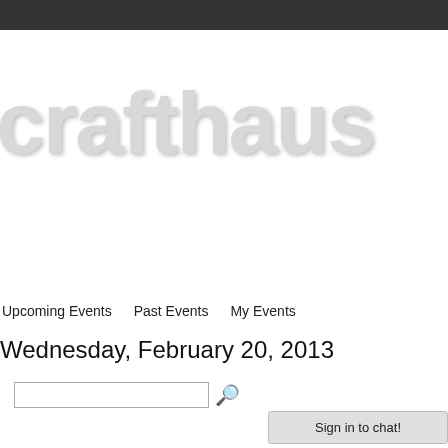crafthaus
Upcoming Events   Past Events   My Events
Wednesday, February 20, 2013
[search input field]
Sign in to chat!